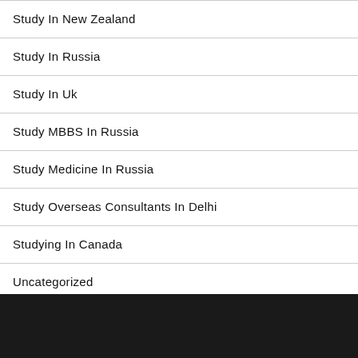Study In New Zealand
Study In Russia
Study In Uk
Study MBBS In Russia
Study Medicine In Russia
Study Overseas Consultants In Delhi
Studying In Canada
Uncategorized